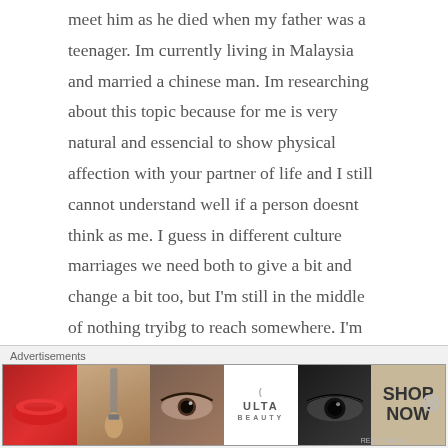meet him as he died when my father was a teenager. Im currently living in Malaysia and married a chinese man. Im researching about this topic because for me is very natural and essencial to show physical affection with your partner of life and I still cannot understand well if a person doesnt think as me. I guess in different culture marriages we need both to give a bit and change a bit too, but I'm still in the middle of nothing tryibg to reach somewhere. I'm also very romantic and affectionate, but I have to repress myself now and hide all my emotions.
Advertisements
[Figure (photo): Advertisement banner for ULTA beauty featuring close-up images of lips, makeup brush, eye, ULTA logo, smoky eye, and SHOP NOW text]